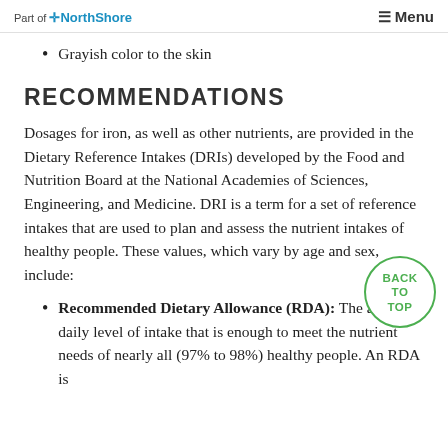Part of NorthShore | Menu
Grayish color to the skin
RECOMMENDATIONS
Dosages for iron, as well as other nutrients, are provided in the Dietary Reference Intakes (DRIs) developed by the Food and Nutrition Board at the National Academies of Sciences, Engineering, and Medicine. DRI is a term for a set of reference intakes that are used to plan and assess the nutrient intakes of healthy people. These values, which vary by age and sex, include:
Recommended Dietary Allowance (RDA): The average daily level of intake that is enough to meet the nutrient needs of nearly all (97% to 98%) healthy people. An RDA is